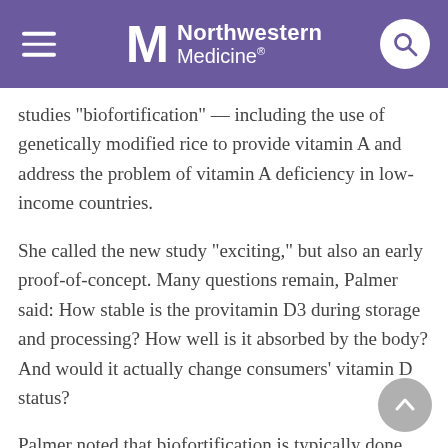Northwestern Medicine
studies "biofortification" — including the use of genetically modified rice to provide vitamin A and address the problem of vitamin A deficiency in low-income countries.
She called the new study "exciting," but also an early proof-of-concept. Many questions remain, Palmer said: How stable is the provitamin D3 during storage and processing? How well is it absorbed by the body? And would it actually change consumers' vitamin D status?
Palmer noted that biofortification is typically done with staple crops that are part of a culture's daily diet, like rice and corn.
Whether tomatoes could be consumed to a